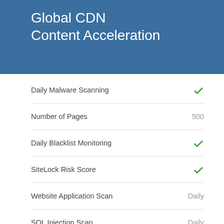Global CDN Content Acceleration
Daily Malware Scanning — ✓
Number of Pages — 500
Daily Blacklist Monitoring — ✓
SiteLock Risk Score — ✓
Website Application Scan — Daily
SQL Injection Scan — Daily
Cross Site (XSS) Scan — Daily
Sitelock™ Trust Seal — ✓
Daily SMART Scans — ✓
Automatic Malware Removal — ✓
TrueShield Protection — ✓
WordPress Scan — ✓
Spam Blacklist Monitoring — ✓